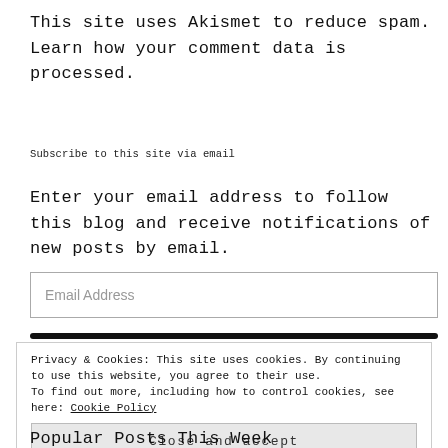This site uses Akismet to reduce spam. Learn how your comment data is processed.
Subscribe to this site via email
Enter your email address to follow this blog and receive notifications of new posts by email.
Email Address
Privacy & Cookies: This site uses cookies. By continuing to use this website, you agree to their use.
To find out more, including how to control cookies, see here: Cookie Policy
Close and accept
Popular Posts This Week